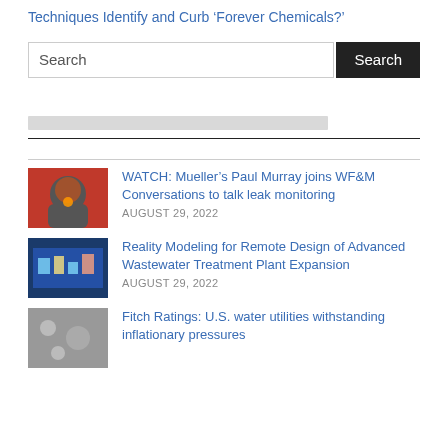Techniques Identify and Curb ‘Forever Chemicals?’
Search
[Figure (screenshot): Gray placeholder loading bar]
WATCH: Mueller’s Paul Murray joins WF&M Conversations to talk leak monitoring — AUGUST 29, 2022
Reality Modeling for Remote Design of Advanced Wastewater Treatment Plant Expansion — AUGUST 29, 2022
Fitch Ratings: U.S. water utilities withstanding inflationary pressures